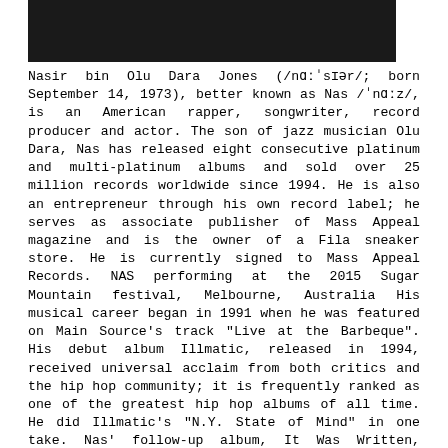[Figure (photo): Partial photo of Nas, showing dark background and top of head/shoulders area]
Nasir bin Olu Dara Jones (/nɑːˈsɪər/; born September 14, 1973), better known as Nas /ˈnɑːz/, is an American rapper, songwriter, record producer and actor. The son of jazz musician Olu Dara, Nas has released eight consecutive platinum and multi-platinum albums and sold over 25 million records worldwide since 1994. He is also an entrepreneur through his own record label; he serves as associate publisher of Mass Appeal magazine and is the owner of a Fila sneaker store. He is currently signed to Mass Appeal Records. NAS performing at the 2015 Sugar Mountain festival, Melbourne, Australia His musical career began in 1991 when he was featured on Main Source's track "Live at the Barbeque". His debut album Illmatic, released in 1994, received universal acclaim from both critics and the hip hop community; it is frequently ranked as one of the greatest hip hop albums of all time. He did Illmatic's "N.Y. State of Mind" in one take. Nas' follow-up album, It Was Written, debuted at number one on the Billboard 200, stayed on top for four consecutive weeks, went Platinum twice in only two months, and made Nas internationally known. From 2001 to 2005, Nas was involved in a highly publicized feud with rapper Jay Z. In 2006, Nas signed to Def Jam. In 2010, he released a collaboration album with reggae artist Damian Marley,